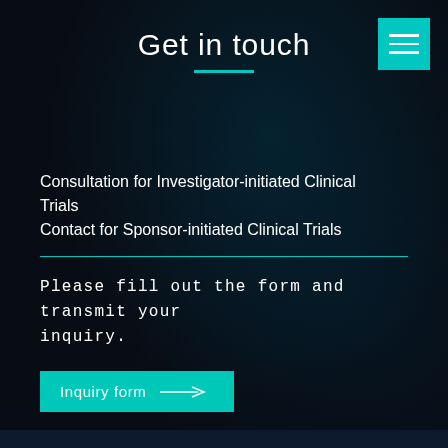Get in touch
[Figure (other): Teal hamburger menu icon in top right corner]
Consultation for Investigator-initiated Clinical Trials
Contact for Sponsor-initiated Clinical Trials
Please fill out the form and transmit your inquiry.
[Figure (other): Teal button labeled 'Inquiry form' with arrow icon]